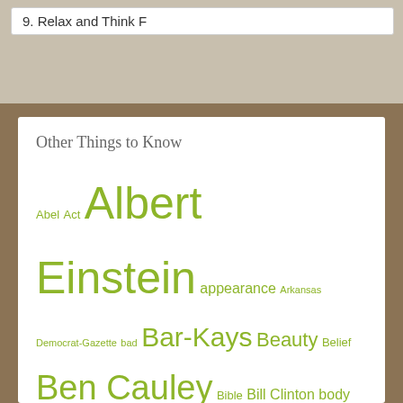9. Relax and Think F
Other Things to Know
Abel Act Albert Einstein appearance Arkansas Democrat-Gazette bad Bar-Kays Beauty Belief Ben Cauley Bible Bill Clinton body Brain burden Butt Buttocks Cain Central Time Zone (North America) change chemical imbalance Chicago childhood Choke Clock community conception Consciousness control Cosmetics creation Creationism creativity Creavolution Daylight saving time Defense Mechanism Democrats depression Desire disordered Distraction Dr. King dysfunctional Ear Early childhood Emotion emotional trauma enlightenment evolution evolve exercise existence Family Fire Next